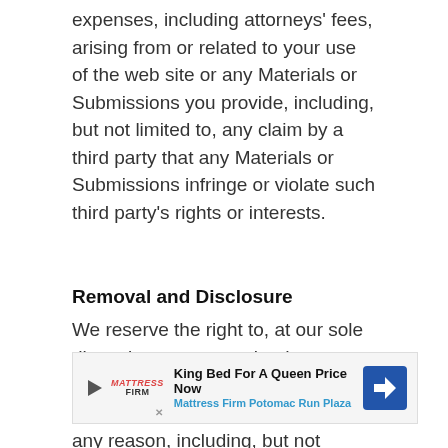expenses, including attorneys' fees, arising from or related to your use of the web site or any Materials or Submissions you provide, including, but not limited to, any claim by a third party that any Materials or Submissions infringe or violate such third party's rights or interests.
Removal and Disclosure
We reserve the right to, at our sole discretion, remove, take down, destroy or delete any Material and Submissions at any time and for any reason, including, but not limited to Material and Submissions, that we deem inappropriate or which we believe might subject us to any liability. We may access, use and disclose transaction information about al
[Figure (other): Advertisement banner: King Bed For A Queen Price Now - Mattress Firm Potomac Run Plaza, with play button, Mattress Firm logo, and blue navigation arrow icon]